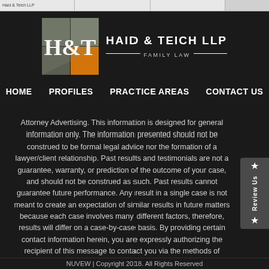[Figure (logo): Haid & Teich LLP law firm logo with H&T monogram and colored geometric squares in grey, olive, and orange]
HAID & TEICH LLP
FAMILY LAW
HOME   PROFILES   PRACTICE AREAS   CONTACT US
Attorney Advertising. This information is designed for general information only. The information presented should not be construed to be formal legal advice nor the formation of a lawyer/client relationship. Past results and testimonials are not a guarantee, warranty, or prediction of the outcome of your case, and should not be construed as such. Past results cannot guarantee future performance. Any result in a single case is not meant to create an expectation of similar results in future matters because each case involves many different factors, therefore, results will differ on a case-by-case basis. By providing certain contact information herein, you are expressly authorizing the recipient of this message to contact you via the methods of communication provided.
NUVEW | Copyright 2018. All Rights Reserved